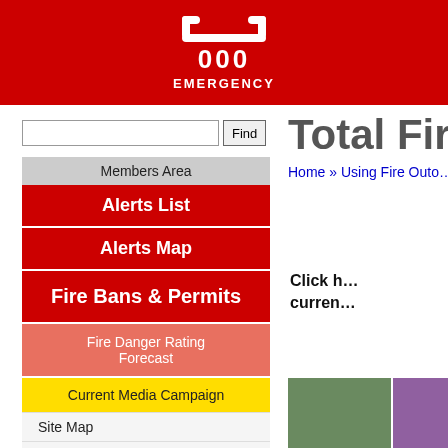[Figure (logo): 000 Emergency logo on red background — telephone handset icon above '000' with 'EMERGENCY' text below, white on red]
[Search input field] Find
Members Area
Alerts List
Alerts Map
Fire Bans & Permits
Fire Danger Rating Forecast
Current Media Campaign
Site Map
Media Releases
Home Fire Safety
Building Safety Unit
Total Fire B
Home » Using Fire Outo…
Click h… curren…
[Figure (photo): Partial photo showing outdoor scene with green foliage and another image with purple/mauve background]